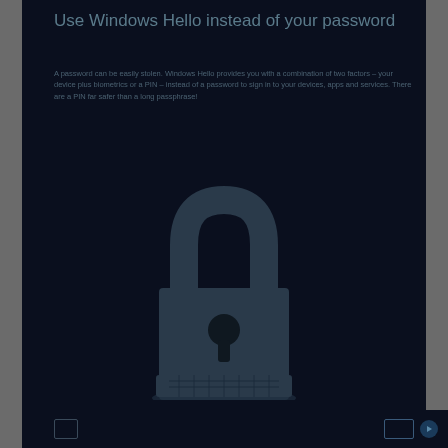Use Windows Hello instead of your password
A password can be easily stolen. Windows Hello provides you with a combination of two factors – your device plus biometrics or a PIN – instead of a password to sign in to your devices, apps and services. There are a PIN far safer than a long passphrase!
[Figure (illustration): Dark illustration of a padlock over a computer keyboard/laptop, representing security and Windows Hello authentication]